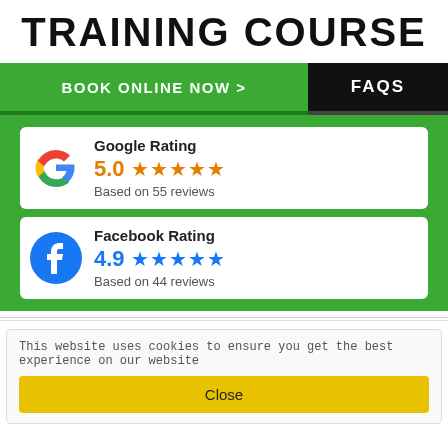TRAINING COURSE
BOOK ONLINE NOW >
FAQS
[Figure (other): Google Rating card showing 5.0 stars (orange) based on 55 reviews, with Google G logo]
[Figure (other): Facebook Rating card showing 4.9 stars (blue) based on 44 reviews, with Facebook F logo]
This website uses cookies to ensure you get the best experience on our website
Close